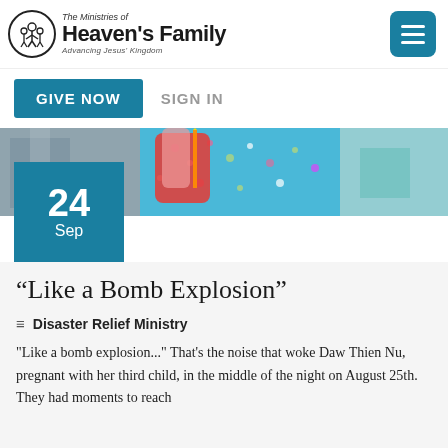The Ministries of Heaven's Family — Advancing Jesus' Kingdom
GIVE NOW    SIGN IN
[Figure (photo): Close-up photo of a woman in a blue floral dress holding red fabric items, outdoor setting]
24 Sep
“Like a Bomb Explosion”
Disaster Relief Ministry
"Like a bomb explosion..." That's the noise that woke Daw Thien Nu, pregnant with her third child, in the middle of the night on August 25th. They had moments to reach